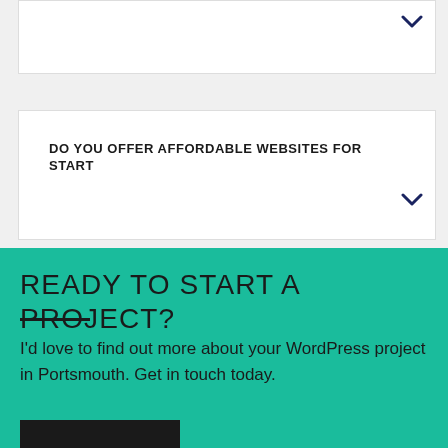[Figure (screenshot): Collapsed accordion item with a chevron down indicator on the right, white background, clipped at top]
DO YOU OFFER AFFORDABLE WEBSITES FOR START
READY TO START A PROJECT?
I'd love to find out more about your WordPress project in Portsmouth. Get in touch today.